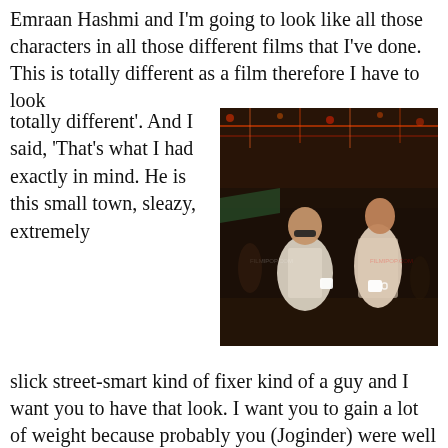Emraan Hashmi and I'm going to look like all those characters in all those different films that I've done. This is totally different as a film therefore I have to look totally different'. And I said, 'That's what I had exactly in mind. He is this small town, sleazy, extremely slick street-smart kind of fixer kind of a guy and I want you to have that look. I want you to gain a lot of weight because probably you (Joginder) were well built at one time but now you are out of condition so I want you to get a paunch. You move on the street most of the time so you are burnt brown. You are a small town guy so
[Figure (photo): Two men walking on a busy street at night with decorative lights in the background. One man wears sunglasses and a white shirt, the other wears a light pink/white loose shirt and holds a white mug.]